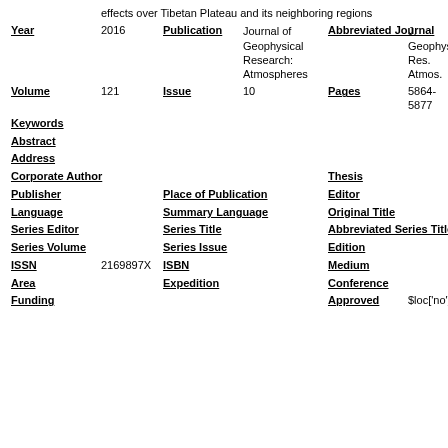|  | effects over Tibetan Plateau and its neighboring regions |  |  |  |  |
| Year | 2016 | Publication | Journal of Geophysical Research: Atmospheres | Abbreviated Journal | J. Geophys. Res. Atmos. |
| Volume | 121 | Issue | 10 | Pages | 5864-5877 |
| Keywords |  |  |  |  |  |
| Abstract |  |  |  |  |  |
| Address |  |  |  |  |  |
| Corporate Author |  |  |  | Thesis |  |
| Publisher |  | Place of Publication |  | Editor |  |
| Language |  | Summary Language |  | Original Title |  |
| Series Editor |  | Series Title |  | Abbreviated Series Title |  |
| Series Volume |  | Series Issue |  | Edition |  |
| ISSN | 2169897X | ISBN |  | Medium |  |
| Area |  | Expedition |  | Conference |  |
| Funding |  |  |  | Approved | $loc['no'] |